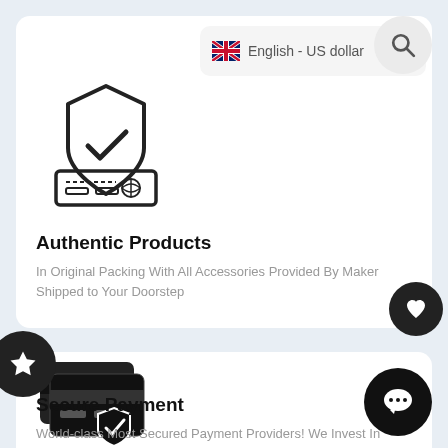[Figure (screenshot): Search bar with UK flag and text 'English - US dollar' with search icon]
[Figure (illustration): Authentic products icon: shield with checkmark over a card/document]
Authentic Products
In Original Packing With All Accessories Provided By Maker Shipped to Your Doorstep
[Figure (illustration): Secure payment icon: stacked credit cards with shield and checkmark]
Secure Payment
World-class Most Secured Payment Providers! We Invest In Your